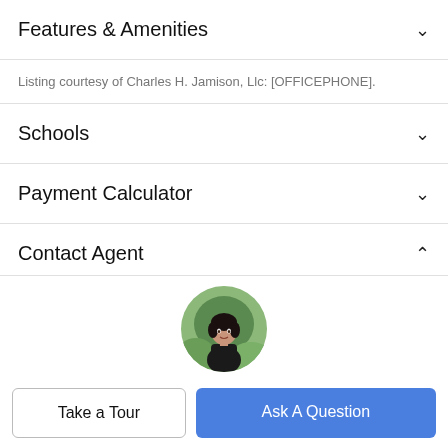Features & Amenities
Listing courtesy of Charles H. Jamison, Llc: [OFFICEPHONE].
Schools
Payment Calculator
Contact Agent
[Figure (photo): Circular profile photo of a female real estate agent with dark hair, wearing a black outfit, with a green outdoor background.]
Bia De Cara
Take a Tour
Ask A Question